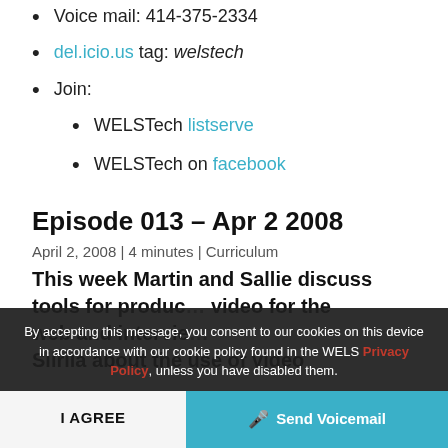Voice mail: 414-375-2334
del.icio.us tag: welstech
Join:
WELSTech listserve
WELSTech on facebook
Episode 013 – Apr 2 2008
April 2, 2008 | 4 minutes | Curriculum
This week Martin and Sallie discuss tools for producing video for the web and intervie… Siirila about the use of video…
By accepting this message, you consent to our cookies on this device in accordance with our cookie policy found in the WELS Privacy Policy, unless you have disabled them.
I AGREE
🎤 Send Voicemail